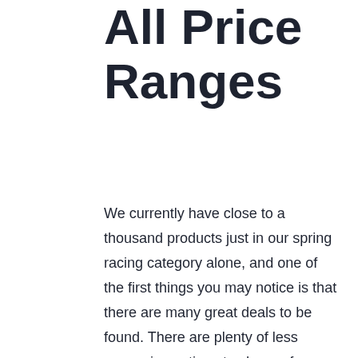All Price Ranges
We currently have close to a thousand products just in our spring racing category alone, and one of the first things you may notice is that there are many great deals to be found. There are plenty of less expensive options to choose from, with many under $50, and then the prices go up to a few hundred dollars.
So, you won't be starved for choices here